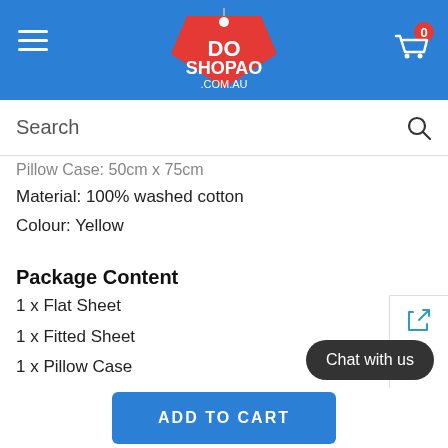SHOPADO .COM.AU
Search
Pillow Case:  50cm x 75cm
Material:  100% washed cotton
Colour:  Yellow
Package Content
1 x Flat Sheet
1 x Fitted Sheet
1 x Pillow Case
Chat with us
ADD TO CART